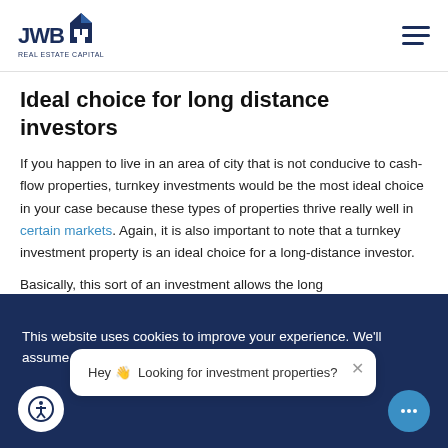JWB Real Estate Capital
Ideal choice for long distance investors
If you happen to live in an area of city that is not conducive to cash-flow properties, turnkey investments would be the most ideal choice in your case because these types of properties thrive really well in certain markets. Again, it is also important to note that a turnkey investment property is an ideal choice for a long-distance investor.
Basically, this sort of an investment allows the long
This website uses cookies to improve your experience. We'll assume you're ok with this, but you can opt-out if you wish. Hey 👋 Looking for investment properties?